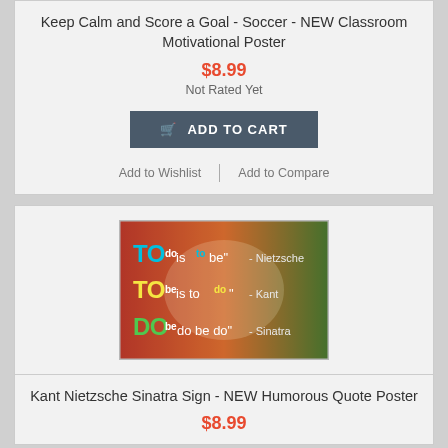Keep Calm and Score a Goal - Soccer - NEW Classroom Motivational Poster
$8.99
Not Rated Yet
ADD TO CART
Add to Wishlist
Add to Compare
[Figure (photo): Kant Nietzsche Sinatra humorous quote poster with colorful text: 'TO do is to be - Nietzsche', 'TO be is to do - Kant', 'DO be do be do - Sinatra' on red/green background]
Kant Nietzsche Sinatra Sign - NEW Humorous Quote Poster
$8.99